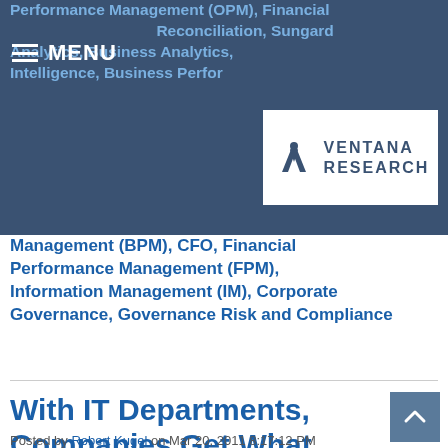Performance Management (OPM), Financial Reconciliation, Sungard Analytics, Business Analytics, Business Intelligence, Business Performance Management (BPM), CFO, Financial Performance Management (FPM), Information Management (IM), Corporate Governance, Governance Risk and Compliance
[Figure (logo): Ventana Research logo with stylized V icon and text VENTANA RESEARCH on white background]
With IT Departments, Companies Get What They Deserve
Posted by Robert Kugel on Mar 20, 2011 8:17:12 PM